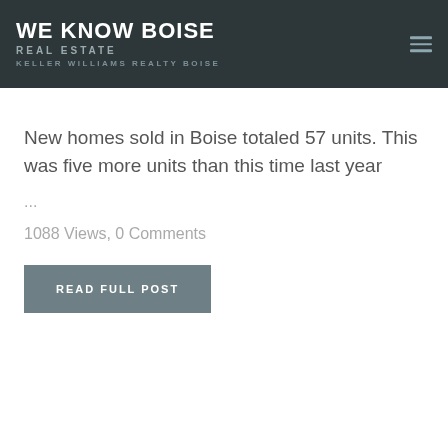WE KNOW BOISE REAL ESTATE KELLER WILLIAMS REALTY BOISE
New homes sold in Boise totaled 57 units. This was five more units than this time last year
...
1088 Views, 0 Comments
READ FULL POST